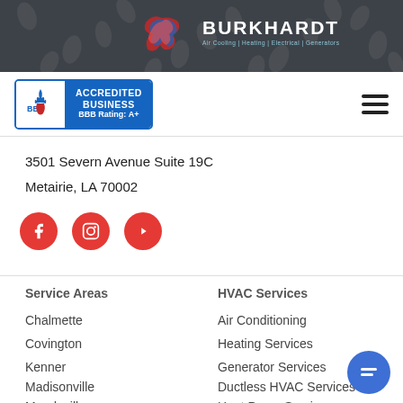BURKHARDT — Air Cooling | Heating | Electrical | Generators
[Figure (logo): Burkhardt company logo with bird/flame graphic and tagline on dark background]
[Figure (logo): BBB Accredited Business BBB Rating: A+ badge]
3501 Severn Avenue Suite 19C
Metairie, LA 70002
[Figure (infographic): Social media icons: Facebook, Instagram, YouTube (red circles)]
Service Areas
HVAC Services
Chalmette
Air Conditioning
Covington
Heating Services
Kenner
Generator Services
Madisonville
Ductless HVAC Services
Mandeville
Heat Pump Services